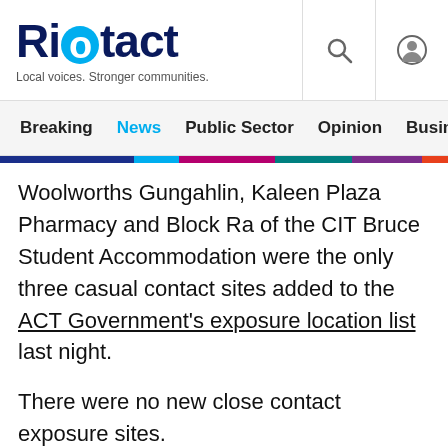Riotact — Local voices. Stronger communities.
Breaking | News | Public Sector | Opinion | Business | R
Woolworths Gungahlin, Kaleen Plaza Pharmacy and Block Ra of the CIT Bruce Student Accommodation were the only three casual contact sites added to the ACT Government's exposure location list last night.
There were no new close contact exposure sites.
Anyone who visited Woolworths Gungahlin between 12:50 pm and 2:00 pm on Sunday, 5